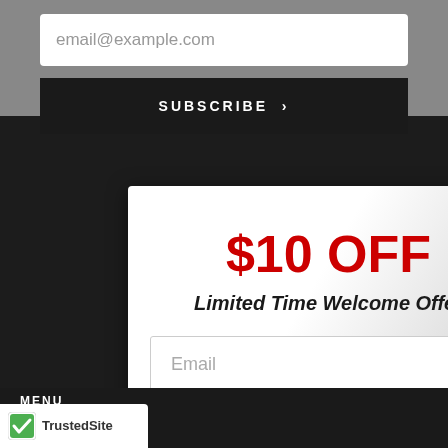[Figure (screenshot): Website screenshot showing an email subscription form with placeholder 'email@example.com' and a dark 'SUBSCRIBE >' button, overlaid by a popup modal offering '$10 OFF - Limited Time Welcome Offer' with an Email input field and a red 'Claim Before It Ends →' button. Background shows dark website footer with menu items: Contact, Our Sto[re], Pro Sto[re], Refurbished Sticks, Delivery / Warranty, [Toronto Sho]wroom. TrustedSite badge at bottom left.]
email@example.com
SUBSCRIBE >
$10 OFF
Limited Time Welcome Offer
Email
Claim Before It Ends →
MENU
Contact
Our Sto[re]
Pro Sto[re]
Refurbished Sticks
Delivery / Warranty
Toronto Showroom
[Figure (logo): TrustedSite badge with green checkmark logo and text 'TrustedSite']